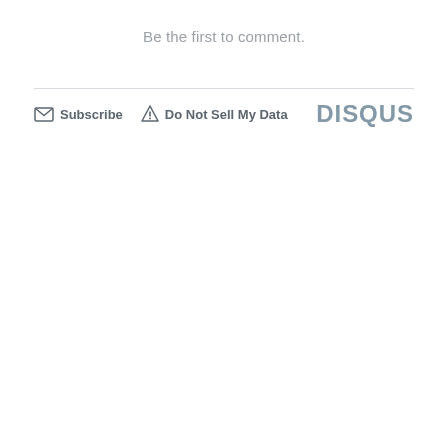Be the first to comment.
Subscribe  Do Not Sell My Data  DISQUS